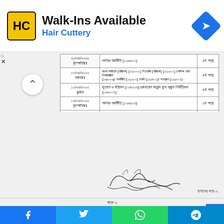[Figure (screenshot): Hair Cuttery advertisement banner with logo, Walk-Ins Available headline, and navigation icon]
| তারিখ ও দিন | বিষয় ও বিষয় কোড | পত্র |
| --- | --- | --- |
| ২১/০৪/২০২২ বৃহস্পতিবার | গর্ভস্থ অর্থনীতি (১২৬৫০১) | ৫ম পত্র |
| ১০/০৫/২০২২ মঙ্গলবার | বাংলা সাহিত্য (ঐচ্ছিক) (১২১০০০) /ইংরেজি (ঐচ্ছিক) (১২১১০০) /বেসিক হোম ইকোনমিক্স (১২৬০০৬)/ অর্থনীতি (১২১২০৩) /পালি (১২১৪০৩)/ সংস্কৃত (১২১৫০৩) | ৪র্থ পত্র |
| ১১/০৫/২০২২ বুধবার | ভূগোল ও পরিবেশ (১২৪২০৩) /জেনারেল সায়েন্স ফুড অ্যান্ড নিউট্রিশন (১২৬০০৭) | ৪র্থ পত্র |
| ১২/০৫/২০২২ বৃহস্পতিবার | গর্ভস্থ অর্থনীতি (১২৬৫০৩) | ৫ম পত্র |
| ১৪/০৫/২০২২ শনিবার | পরিসংখ্যান (১২৩৬০৩)/তত্ত্বীয় সংগীত (বায়হারিক) (১২৪৫০৪)/ মজলস সংগীত (বায়হারিক) (১২৪৫০৬)/লোক সংগীত (বায়হারিক) (১২৪৬০৮) | ৫ম পত্র |
| ১৬/০৫/২০২২ সোমবার | ইসলামের ইতিহাস ও সংস্কৃতি (১২১৬০৩) /ভূগোল (১২২৬০৩)/ ইতিহাস (১২১৫০৩) /হিসাববিজ্ঞান (১২২৫০৩) | ৫ম পত্র |
| ১৭/০৫/২০২২ মঙ্গলবার | অর্থনীতি (১২২২০৩) /প্রাণিবিজ্ঞান (১২৪১০৩) | ৪র্থ পত্র |
[Figure (illustration): Handwritten signature with decorative floral flourish]
ক্লাসের পাতা-২
পাতা-২
| তারিখ ও দিন | বিষয় ও বিষয় কোড | পত্র |
| --- | --- | --- |
| ১৮/০৫/২০২২ | গণিক (১২০৭০৩/উচ্চতর সংগীত (বায়হারিক) (১২৪৭০১) | ৪র্থ পত্র |